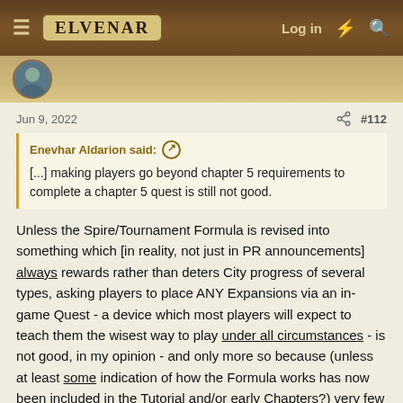Elvenar  Log in
Jun 9, 2022  #112
Enevhar Aldarion said: [...] making players go beyond chapter 5 requirements to complete a chapter 5 quest is still not good.
Unless the Spire/Tournament Formula is revised into something which [in reality, not just in PR announcements] always rewards rather than deters City progress of several types, asking players to place ANY Expansions via an in-game Quest - a device which most players will expect to teach them the wisest way to play under all circumstances - is not good, in my opinion - and only more so because (unless at least some indication of how the Formula works has now been included in the Tutorial and/or early Chapters?) very few new players, and few enough existing ones too, would ever expect that increasing one's building space in a game which markets itself as a City-Building